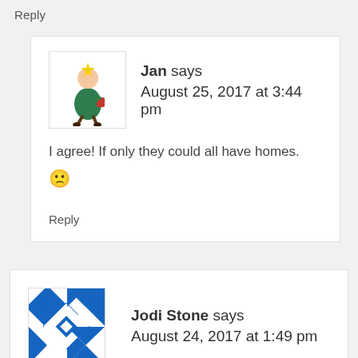Reply
[Figure (illustration): Avatar of Jan: cartoon figure of a person in a green dress walking]
Jan says August 25, 2017 at 3:44 pm
I agree! If only they could all have homes. 🙁
Reply
[Figure (illustration): Avatar of Jodi Stone: blue and white geometric quilt pattern]
Jodi Stone says August 24, 2017 at 1:49 pm